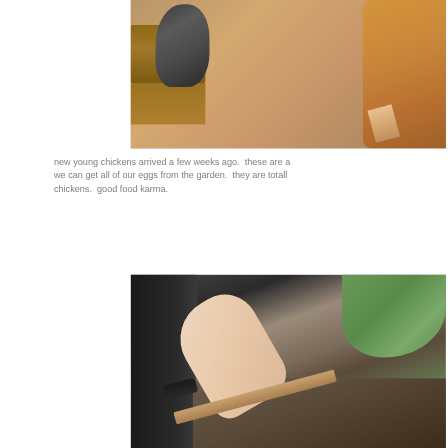[Figure (photo): Close-up photo of chickens near a wooden coop structure. An orange/golden-colored chicken is prominent on the right, and a dark mottled/barred chicken is visible near wooden beams on the left. Chicken feet/claws are visible.]
new young chickens arrived a few weeks ago.  these are a... we can get all of our eggs from the garden.  they are totall... chickens.  good food karma.
[Figure (photo): Photo of a person's arm and hand holding a garden tool (appears to be a fork or hoe with a wooden handle and dark grip) in a garden setting with stones, soil, and green foliage visible in the background.]